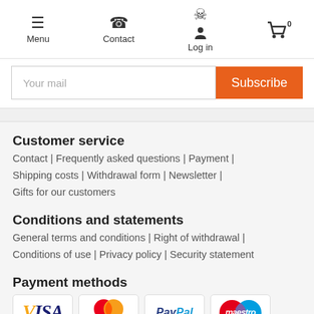Menu | Contact | Log in | Cart (0)
Your mail | Subscribe
Customer service
Contact | Frequently asked questions | Payment | Shipping costs | Withdrawal form | Newsletter | Gifts for our customers
Conditions and statements
General terms and conditions | Right of withdrawal | Conditions of use | Privacy policy | Security statement
Payment methods
[Figure (logo): Payment method logos: VISA, MasterCard, PayPal, Maestro]